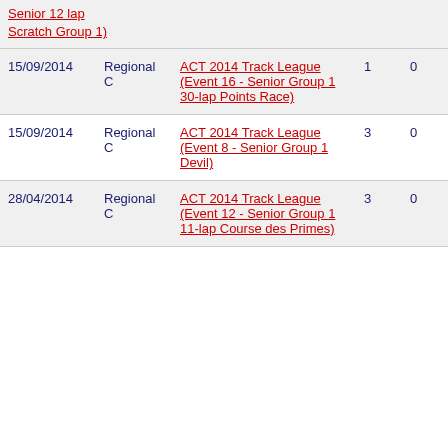| Date | Grade | Event |  |  |
| --- | --- | --- | --- | --- |
|  |  | Senior 12 lap Scratch Group 1) |  |  |
| 15/09/2014 | Regional C | ACT 2014 Track League (Event 16 - Senior Group 1 30-lap Points Race) | 1 | 0 |
| 15/09/2014 | Regional C | ACT 2014 Track League (Event 8 - Senior Group 1 Devil) | 3 | 0 |
| 28/04/2014 | Regional C | ACT 2014 Track League (Event 12 - Senior Group 1 11-lap Course des Primes) | 3 | 0 |